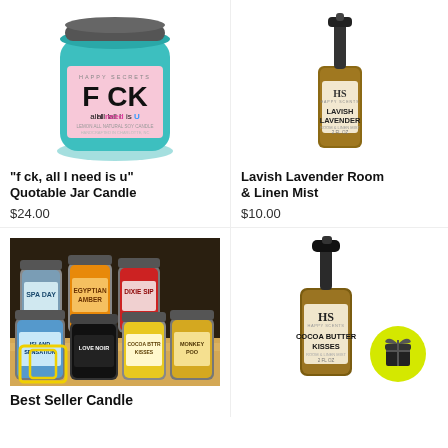[Figure (photo): Teal glass jar candle with pink label reading 'F CK all I need is U']
"f ck, all I need is u" Quotable Jar Candle
$24.00
[Figure (photo): Amber glass spray bottle with label reading 'Lavish Lavender Room & Linen Mist']
Lavish Lavender Room & Linen Mist
$10.00
[Figure (photo): Multiple labeled candle jars including Spa Day, Egyptian Amber, Dixie Sip, Island Sensation, Love Noir, Cocoa Butter Kisses, Monkey Poo on a shelf]
Best Seller Candle
[Figure (photo): Amber glass spray bottle labeled Cocoa Butter Kisses Room & Linen Mist with yellow gift badge icon]
$10.00